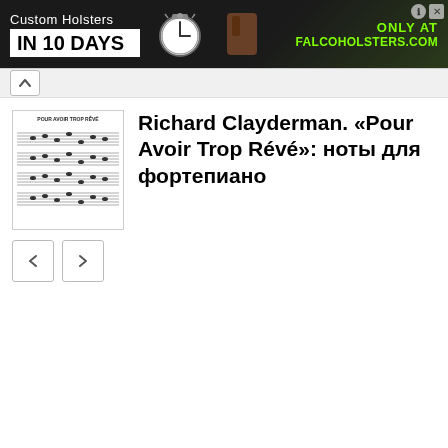[Figure (photo): Banner advertisement for Custom Holsters IN 10 DAYS, ONLY AT FALCOHOLSTERS.COM, with clock image]
[Figure (illustration): Collapsed navigation tab with chevron-up arrow]
[Figure (other): Sheet music thumbnail for Pour Avoir Trop Reve]
Richard Clayderman. «Pour Avoir Trop Révé»: ноты для фортепиано
[Figure (other): Navigation previous and next arrow buttons]